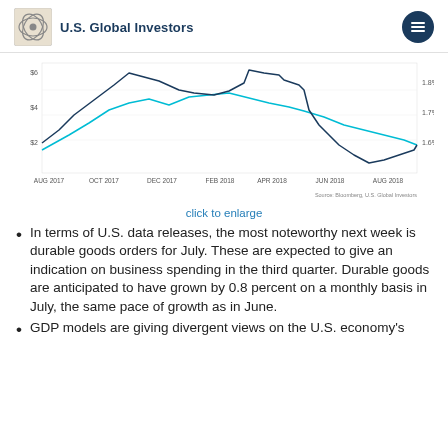U.S. Global Investors
[Figure (line-chart): Dual-axis line chart showing financial data over time from AUG 2017 to AUG 2018. Two lines: dark blue and teal/cyan. X-axis labels: AUG 2017, OCT 2017, DEC 2017, FEB 2018, APR 2018, JUN 2018, AUG 2018. Source: Bloomberg, U.S. Global Investors.]
click to enlarge
In terms of U.S. data releases, the most noteworthy next week is durable goods orders for July. These are expected to give an indication on business spending in the third quarter. Durable goods are anticipated to have grown by 0.8 percent on a monthly basis in July, the same pace of growth as in June.
GDP models are giving divergent views on the U.S. economy's performance in the third quarter.